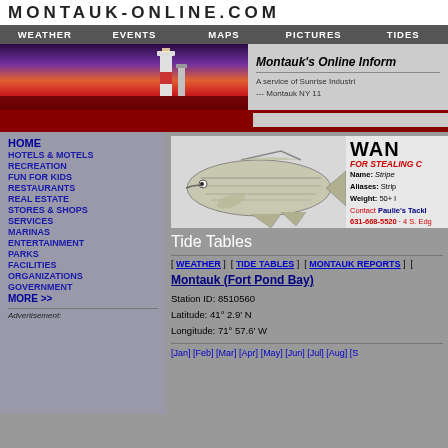MONTAUK-ONLINE.COM
WEATHER   EVENTS   MAPS   PICTURES   TIDES
[Figure (photo): Montauk lighthouse photo at dusk with purple/pink sky and red base]
Montauk's Online Inform
A service of Sunrise Industri
--- Montauk NY 11
[Figure (illustration): Advertisement banner: WANTED FOR STEALING fish image - striped bass. Name: Striped, Aliases: Strip, Weight: 50+. Contact Paulie's Tackle 631-668-5520 - 4 S. Edg]
Tide Tables
[ WEATHER ]  [ TIDE TABLES ]  [ MONTAUK REPORTS ]  [
Montauk (Fort Pond Bay)
Station ID: 8510560
Latitude: 41° 2.9' N
Longitude: 71° 57.6' W
[Jan] [Feb] [Mar] [Apr] [May] [Jun] [Jul] [Aug] [S
HOME
HOTELS & MOTELS
RECREATION
FUN FOR KIDS
RESTAURANTS
REAL ESTATE
STORES & SHOPS
SERVICES
MARINAS
ENTERTAINMENT
PARKS
FACILITIES
ORGANIZATIONS
GOVERNMENT
MORE >>